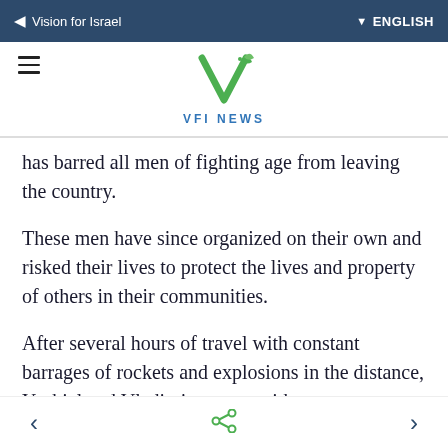Vision for Israel  ENGLISH
[Figure (logo): VFI NEWS logo with green V icon and leaf motif]
has barred all men of fighting age from leaving the country.
These men have since organized on their own and risked their lives to protect the lives and property of others in their communities.
After several hours of travel with constant barrages of rockets and explosions in the distance, Yechiel and Vladimir met up with
< share >